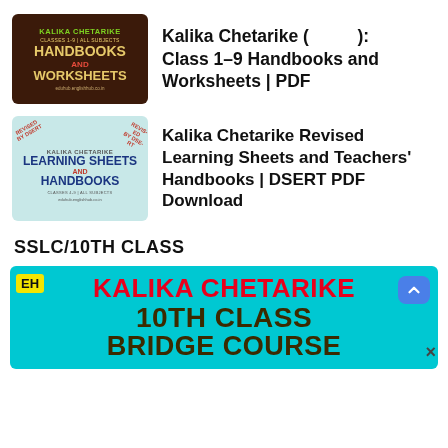[Figure (illustration): Thumbnail for Kalika Chetarike Handbooks and Worksheets – dark brown background with green and gold text]
Kalika Chetarike ( ): Class 1–9 Handbooks and Worksheets | PDF
[Figure (illustration): Thumbnail for Kalika Chetarike Revised Learning Sheets and Handbooks – light teal background with blue and red text, REVISED BY DSERT stamps]
Kalika Chetarike Revised Learning Sheets and Teachers' Handbooks | DSERT PDF Download
SSLC/10TH CLASS
[Figure (illustration): Banner for Kalika Chetarike 10th Class Bridge Course – cyan/teal background with EH yellow logo box, red title KALIKA CHETARIKE, dark brown 10TH CLASS and BRIDGE COURSE text, blue scroll-up button, close X]